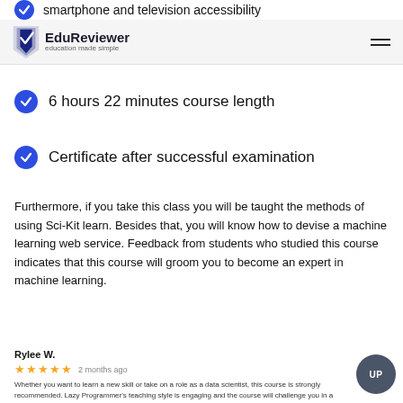smartphone and television accessibility
EduReviewer — education made simple
6 hours 22 minutes course length
Certificate after successful examination
Furthermore, if you take this class you will be taught the methods of using Sci-Kit learn. Besides that, you will know how to devise a machine learning web service. Feedback from students who studied this course indicates that this course will groom you to become an expert in machine learning.
Rylee W.
★★★★★ 2 months ago
Whether you want to learn a new skill or take on a role as a data scientist, this course is strongly recommended. Lazy Programmer's teaching style is engaging and the course will challenge you in a multitude of ways. It gives you a real understanding of what machine learning is all about.
Was this review helpful?